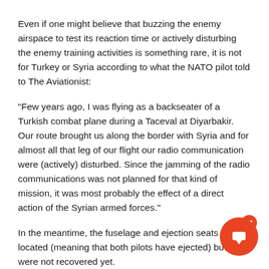Even if one might believe that buzzing the enemy airspace to test its reaction time or actively disturbing the enemy training activities is something rare, it is not for Turkey or Syria according to what the NATO pilot told to The Aviationist:
“Few years ago, I was flying as a backseater of a Turkish combat plane during a Taceval at Diyarbakir. Our route brought us along the border with Syria and for almost all that leg of our flight our radio communication were (actively) disturbed. Since the jamming of the radio communications was not planned for that kind of mission, it was most probably the effect of a direct action of the Syrian armed forces.”
In the meantime, the fuselage and ejection seats were located (meaning that both pilots have ejected) but they were not recovered yet.
Their names were made public as Captain Gökhan Er[obscured] Lieutenant Hasan Hüseyin Aksoy.